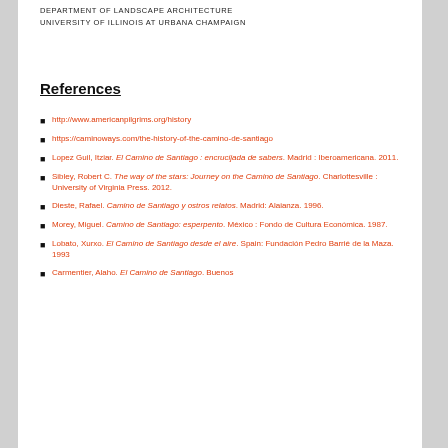DEPARTMENT OF LANDSCAPE ARCHITECTURE
UNIVERSITY OF ILLINOIS AT URBANA CHAMPAIGN
References
http://www.americanpilgrims.org/history
https://caminoways.com/the-history-of-the-camino-de-santiago
Lopez Guil, Itziar. El Camino de Santiago : encrucijada de sabers. Madrid : Iberoamericana. 2011.
Sibley, Robert C. The way of the stars: Journey on the Camino de Santiago. Charlottesville : University of Virginia Press. 2012.
Dieste, Rafael. Camino de Santiago y ostros relatos. Madrid: Alaianza. 1996.
Morey, Miguel. Camino de Santiago: esperpento. México : Fondo de Cultura Económica. 1987.
Lobato, Xurxo. El Camino de Santiago desde el aire. Spain: Fundación Pedro Barrié de la Maza. 1993
Carmentier, Alaho. El Camino de Santiago. Buenos...